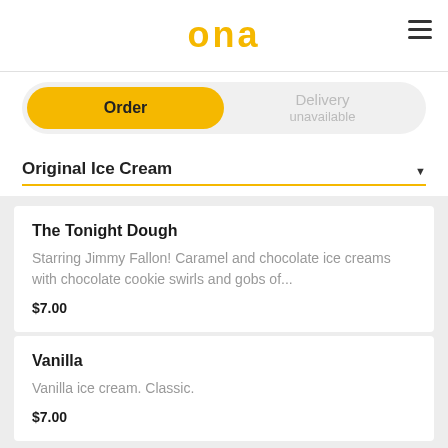ona
Order | Delivery unavailable
Original Ice Cream
The Tonight Dough
Starring Jimmy Fallon! Caramel and chocolate ice creams with chocolate cookie swirls and gobs of...
$7.00
Vanilla
Vanilla ice cream. Classic.
$7.00